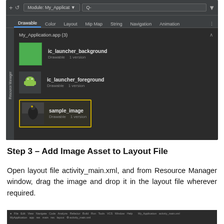[Figure (screenshot): Android Studio Resource Manager showing My_Application.app with three drawable resources: ic_launcher_background (green square), ic_launcher_foreground (android icon), and sample_image (bird photo) highlighted with a yellow border. Drawable tab is active.]
Step 3 – Add Image Asset to Layout File
Open layout file activity_main.xml, and from Resource Manager window, drag the image and drop it in the layout file wherever required.
[Figure (screenshot): Android Studio IDE with activity_main.xml open, showing the top menu bar and project/layout tabs.]